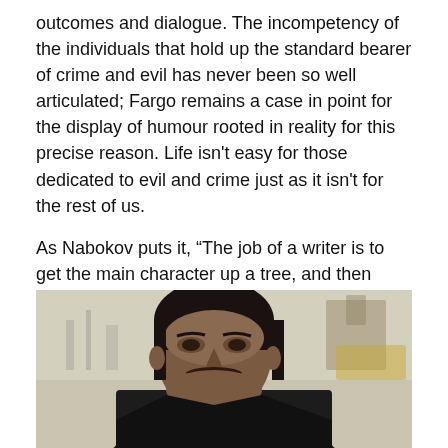outcomes and dialogue. The incompetency of the individuals that hold up the standard bearer of crime and evil has never been so well articulated; Fargo remains a case in point for the display of humour rooted in reality for this precise reason. Life isn't easy for those dedicated to evil and crime just as it isn't for the rest of us.
As Nabokov puts it, “The job of a writer is to get the main character up a tree, and then once they are up there, throw rocks at them.”
[Figure (photo): A man with dark hair and a mustache wearing a dark jacket, looking forward with a serious expression. Background shows an overcast sky and blurred urban/industrial scenery.]